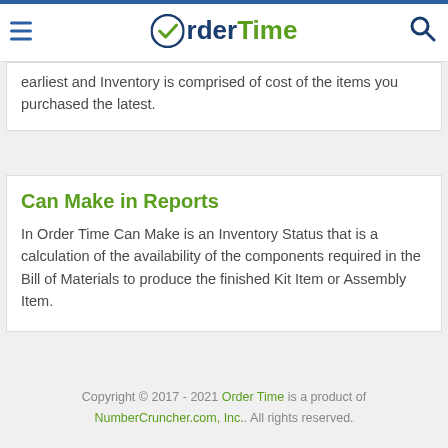OrderTime
earliest and Inventory is comprised of cost of the items you purchased the latest.
Can Make in Reports
In Order Time Can Make is an Inventory Status that is a calculation of the availability of the components required in the Bill of Materials to produce the finished Kit Item or Assembly Item.
Copyright © 2017 - 2021 Order Time is a product of NumberCruncher.com, Inc.. All rights reserved.